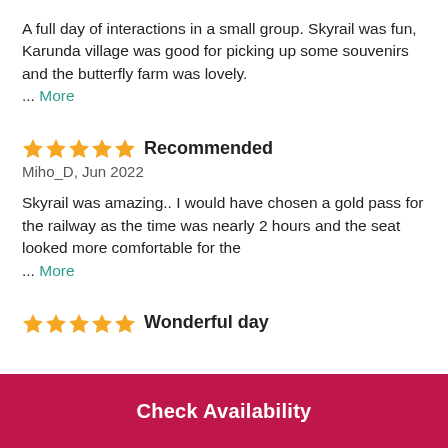A full day of interactions in a small group. Skyrail was fun, Karunda village was good for picking up some souvenirs and the butterfly farm was lovely. … More
★★★★★ Recommended
Miho_D, Jun 2022
Skyrail was amazing.. I would have chosen a gold pass for the railway as the time was nearly 2 hours and the seat looked more comfortable for the … More
★★★★★ Wonderful day
Check Availability